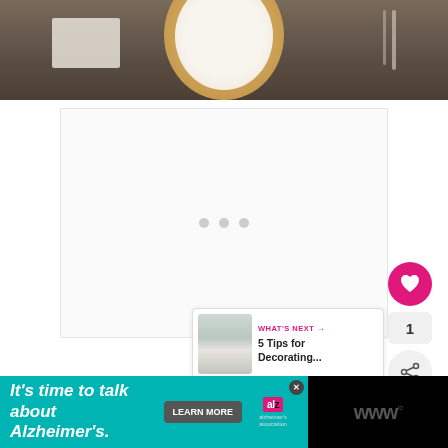[Figure (photo): Top portion of a table setting showing a golden/tan plate on a dark wood table with a light napkin on the left, cropped at the top of the page]
[Figure (screenshot): White content loading area with three gray dots indicating a loading spinner in the center]
[Figure (other): Pink heart favorite button, count badge showing 1, and share button floating on the right side]
[Figure (other): What's Next card showing a thumbnail and text '5 Tips for Decorating...' with pink label 'WHAT'S NEXT →']
[Figure (other): Black and teal advertisement banner at bottom: 'It's time to talk about Alzheimer's.' with LEARN MORE button, Alzheimer's Association logo, and triple-W logo]